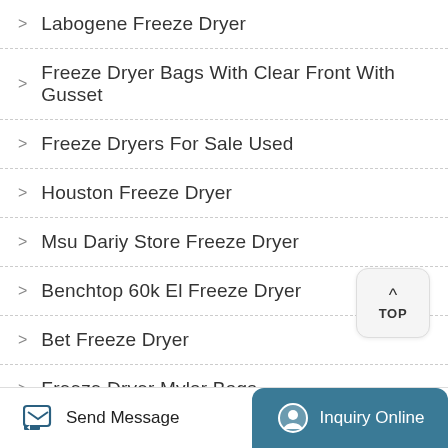Labogene Freeze Dryer
Freeze Dryer Bags With Clear Front With Gusset
Freeze Dryers For Sale Used
Houston Freeze Dryer
Msu Dariy Store Freeze Dryer
Benchtop 60k El Freeze Dryer
Bet Freeze Dryer
Freeze Dryer Mylar Bags
Send Message | Inquiry Online